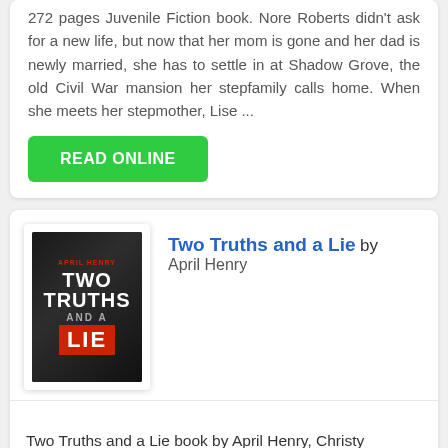272 pages Juvenile Fiction book. Nore Roberts didn't ask for a new life, but now that her mom is gone and her dad is newly married, she has to settle in at Shadow Grove, the old Civil War mansion her stepfamily calls home. When she meets her stepmother, Lise ...
READ ONLINE
[Figure (illustration): Book cover for 'Two Truths and a Lie' by April Henry — dark background with bold white text and red accent]
Two Truths and a Lie by April Henry
Two Truths and a Lie book by April Henry, Christy Ottaviano Books is the publisher for 272 pages Young